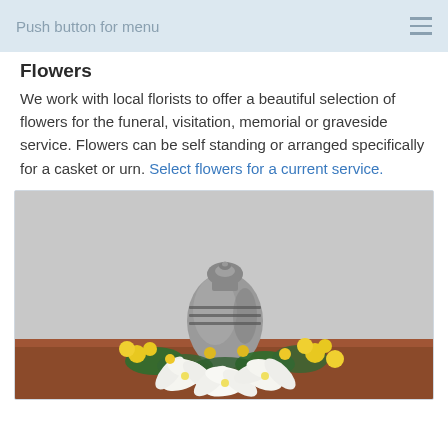Push button for menu
Flowers
We work with local florists to offer a beautiful selection of flowers for the funeral, visitation, memorial or graveside service. Flowers can be self standing or arranged specifically for a casket or urn. Select flowers for a current service.
[Figure (photo): A silver/pewter cremation urn surrounded by a floral arrangement of white lilies and yellow flowers on a wooden surface, with a light gray background.]